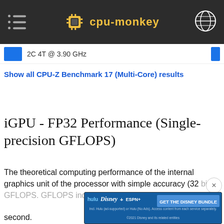cpu-monkey
2C 4T @ 3.90 GHz
Show all CPU-Z Benchmark 17 (Multi-Core) results
iGPU - FP32 Performance (Single-precision GFLOPS)
The theoretical computing performance of the internal graphics unit of the processor with simple accuracy (32 bit) in GFLOPS. GFLOPS indicates how many billion floating point operations the processor can perform per second.
[Figure (screenshot): Disney Bundle advertisement banner with Hulu, Disney+, ESPN+ logos and GET THE DISNEY BUNDLE call to action]